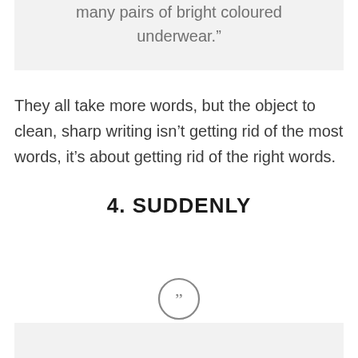many pairs of bright coloured underwear.”
They all take more words, but the object to clean, sharp writing isn’t getting rid of the most words, it’s about getting rid of the right words.
4. SUDDENLY
[Figure (illustration): Circular quotation mark icon with double closing quotation marks inside a circle outline]